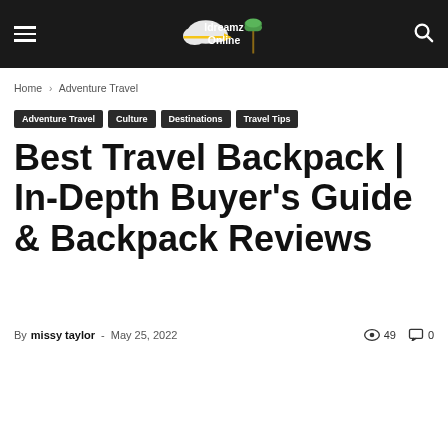Idreamz Online
Home › Adventure Travel
Adventure Travel  Culture  Destinations  Travel Tips
Best Travel Backpack | In-Depth Buyer's Guide & Backpack Reviews
By missy taylor - May 25, 2022  49  0